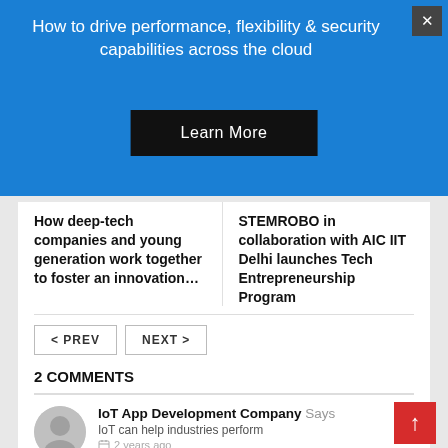[Figure (screenshot): Blue advertisement banner with white text and black Learn More button]
How to drive performance, flexibility & security capabilities across the cloud
Learn More
How deep-tech companies and young generation work together to foster an innovation…
STEMROBO in collaboration with AIC IIT Delhi launches Tech Entrepreneurship Program
< PREV
NEXT >
2 COMMENTS
IoT App Development Company Says
IoT can help industries perform
2 years ago